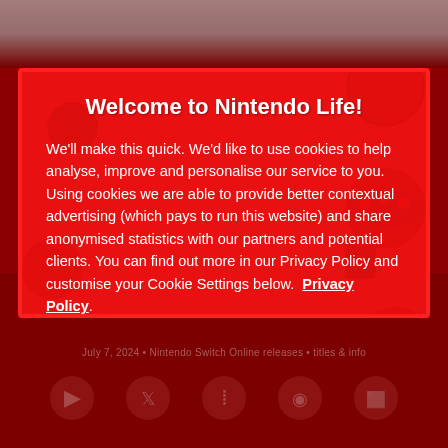[Figure (screenshot): Nintendo Life website screenshot showing a cookie consent modal dialog over a blurred red background with Nintendo character pattern. The modal has a bright red background with decorative Nintendo character illustrations (Mario, mushroom, etc.), a title, body text about cookies, and two buttons: Customise and I agree.]
Welcome to Nintendo Life!
We'll make this quick. We'd like to use cookies to help analyse, improve and personalise our service to you. Using cookies we are able to provide better contextual advertising (which pays to run this website) and share anonymised statistics with our partners and potential clients. You can find out more in our Privacy Policy and customise your Cookie Settings below. Privacy Policy.
Customise
I agree